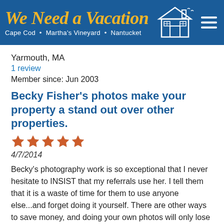[Figure (logo): We Need a Vacation website header logo with tagline 'Cape Cod • Martha's Vineyard • Nantucket' on a blue background with house illustration and hamburger menu icon]
Yarmouth, MA
1 review
Member since: Jun 2003
Becky Fisher's photos make your property a stand out over other properties.
[Figure (other): 5 orange/red star rating icons]
4/7/2014
Becky's photography work is so exceptional that I never hesitate to INSIST that my referrals use her. I tell them that it is a waste of time for them to use anyone else...and forget doing it yourself. There are other ways to save money, and doing your own photos will only lose you money in the long run. About a month ago I suggested to my friend Scott, that he needed Becky's expertise. He's